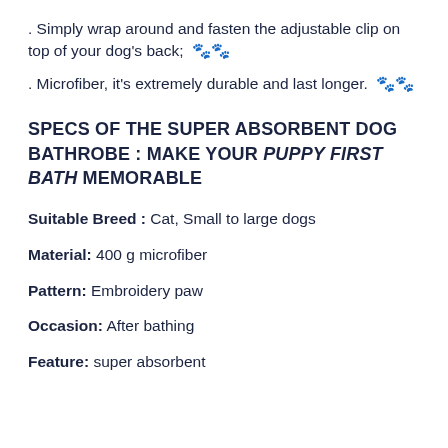. Simply wrap around and fasten the adjustable clip on top of your dog's back;  🐾🐾
. Microfiber, it's extremely durable and last longer.  🐾🐾
SPECS OF THE SUPER ABSORBENT DOG BATHROBE : MAKE YOUR PUPPY FIRST BATH MEMORABLE
Suitable Breed : Cat, Small to large dogs
Material: 400 g microfiber
Pattern: Embroidery paw
Occasion: After bathing
Feature: super absorbent